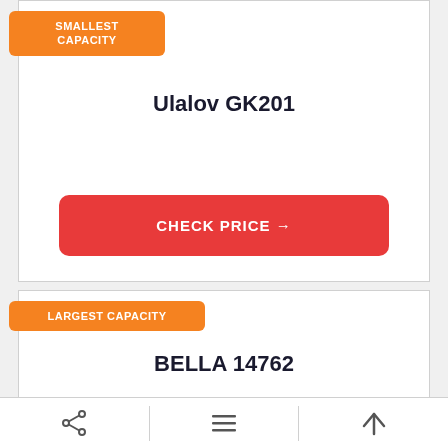SMALLEST CAPACITY
Ulalov GK201
CHECK PRICE →
LARGEST CAPACITY
BELLA 14762
share | menu | up